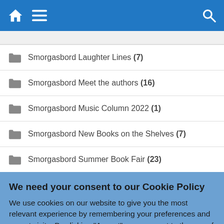Navigation bar with home, menu, and search icons
Smorgasbord Laughter Lines (7)
Smorgasbord Meet the authors (16)
Smorgasbord Music Column 2022 (1)
Smorgasbord New Books on the Shelves (7)
Smorgasbord Summer Book Fair (23)
We need your consent to our Cookie Policy
We use cookies on our website to give you the most relevant experience by remembering your preferences and repeat visits. By clicking “Accept”, you consent to the use of ALL the cookies.
Do not sell my personal information.
Cookie Settings | Accept